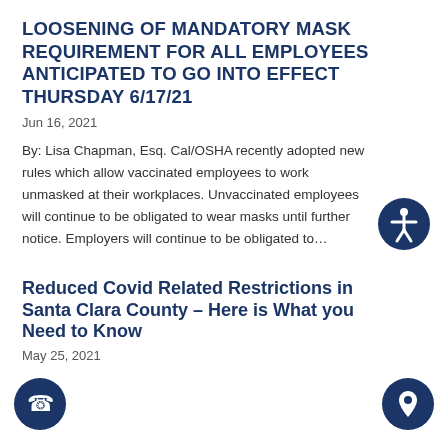LOOSENING OF MANDATORY MASK REQUIREMENT FOR ALL EMPLOYEES ANTICIPATED TO GO INTO EFFECT THURSDAY 6/17/21
Jun 16, 2021
By: Lisa Chapman, Esq. Cal/OSHA recently adopted new rules which allow vaccinated employees to work unmasked at their workplaces. Unvaccinated employees will continue to be obligated to wear masks until further notice. Employers will continue to be obligated to…
[Figure (other): Accessibility icon - circular dark blue button with a person/accessibility symbol]
Reduced Covid Related Restrictions in Santa Clara County – Here is What you Need to Know
May 25, 2021
[Figure (other): Phone icon - circular dark blue button with phone symbol]
[Figure (other): Location icon - circular dark blue button with map pin/location symbol]